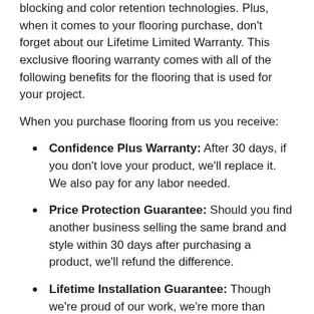blocking and color retention technologies. Plus, when it comes to your flooring purchase, don't forget about our Lifetime Limited Warranty. This exclusive flooring warranty comes with all of the following benefits for the flooring that is used for your project.
When you purchase flooring from us you receive:
Confidence Plus Warranty: After 30 days, if you don't love your product, we'll replace it. We also pay for any labor needed.
Price Protection Guarantee: Should you find another business selling the same brand and style within 30 days after purchasing a product, we'll refund the difference.
Lifetime Installation Guarantee: Though we're proud of our work, we're more than happy to correct any mistakes or accidents occurring due to installation-related issues.
Locally Owned Advantage: Because we maintain so many convenient locations throughout the country, you and your family will always receive personalized service…